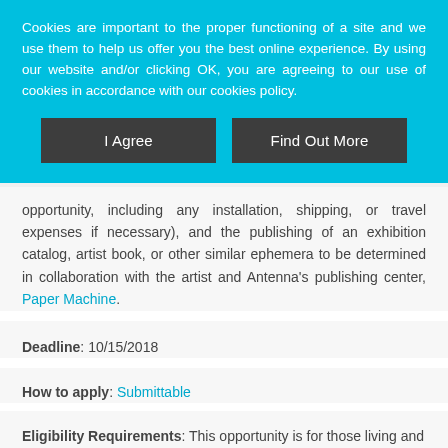Cookies are important to the proper functioning of a site and we use them to help us offer you the best online experience. By using our website and/or clicking OK, you are agreeing to our use of cookies in accordance with our cookies policy.
I Agree | Find Out More
opportunity, including any installation, shipping, or travel expenses if necessary), and the publishing of an exhibition catalog, artist book, or other similar ephemera to be determined in collaboration with the artist and Antenna's publishing center, Paper Machine.
Deadline: 10/15/2018
How to apply: Submittable
Eligibility Requirements: This opportunity is for those living and working in Louisiana.